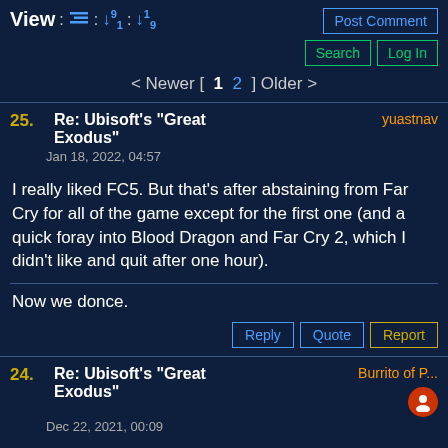View : [icon] : [sort 9/1] : [sort 1/9]
Post Comment | Search | Log In
< Newer [ 1  2 ] Older >
25. Re: Ubisoft's "Great Exodus" — yuastnav — Jan 18, 2022, 04:57
I really liked FC5. But that's after abstaining from Far Cry for all of the game except for the first one (and a quick foray into Blood Dragon and Far Cry 2, which I didn't like and quit after one hour).
Now we donce.
Reply | Quote | Report
24. Re: Ubisoft's "Great Exodus" — Burrito of P... — Dec 22, 2021, 00:09
jdreyer wrote on Dec 21, 2021, 15:11:
Took you that long? 😊
I haven't gotten a Far Cry since 2, and Ass...